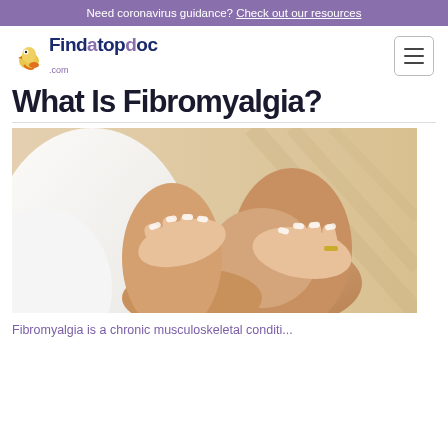Need coronavirus guidance? Check out our resources
[Figure (logo): Findatopdoc.com logo with duck mascot]
What Is Fibromyalgia?
[Figure (photo): Close-up photo of a person holding their knee, suggesting joint pain associated with fibromyalgia]
Fibromyalgia is a chronic musculoskeletal conditi...